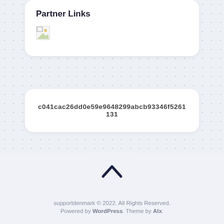Partner Links
[Figure (other): Broken/missing image placeholder icon]
c041cac26dd0e59e9648299abcb93346f5261131
[Figure (other): Back to top chevron button]
supportdenmark © 2022. All Rights Reserved. Powered by WordPress. Theme by Alx.